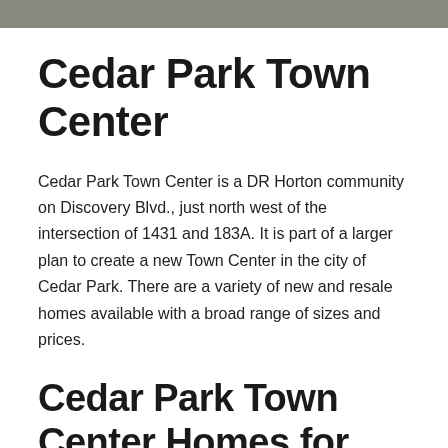Cedar Park Town Center
Cedar Park Town Center is a DR Horton community on Discovery Blvd., just north west of the intersection of 1431 and 183A.  It is part of a larger plan to create a new Town Center in the city of Cedar Park. There are a variety of new and resale homes available with a broad range of sizes and prices.
Cedar Park Town Center Homes for Sale